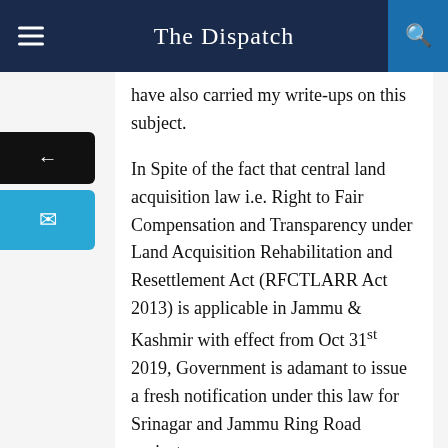The Dispatch
have also carried my write-ups on this subject.
In Spite of the fact that central land acquisition law i.e. Right to Fair Compensation and Transparency under Land Acquisition Rehabilitation and Resettlement Act (RFCTLARR Act 2013) is applicable in Jammu & Kashmir with effect from Oct 31st 2019, Government is adamant to issue a fresh notification under this law for Srinagar and Jammu Ring Road projects.